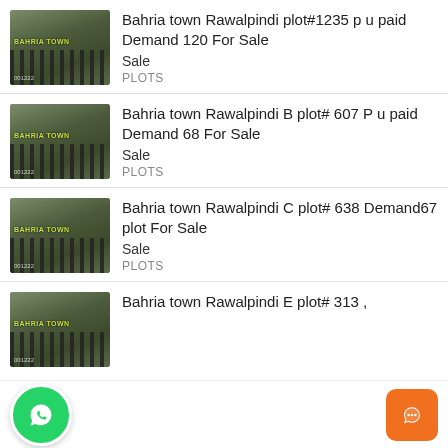[Figure (photo): Thumbnail photo of Bahria Town Rawalpindi with aerial view and fence, labeled BAHRIA TOWN]
Bahria town Rawalpindi plot#1235 p u paid Demand 120 For Sale
Sale
PLOTS
[Figure (photo): Thumbnail photo of Bahria Town Rawalpindi with aerial view and fence, labeled BAHRIA TOWN]
Bahria town Rawalpindi B plot# 607 P u paid Demand 68 For Sale
Sale
PLOTS
[Figure (photo): Thumbnail photo of Bahria Town Rawalpindi with aerial view and fence, labeled BAHRIA TOWN]
Bahria town Rawalpindi C plot# 638 Demand67 plot For Sale
Sale
PLOTS
[Figure (photo): Thumbnail photo of Bahria Town Rawalpindi with aerial view and fence, labeled BAHRIA TOWN]
Bahria town Rawalpindi E plot# 313 ,